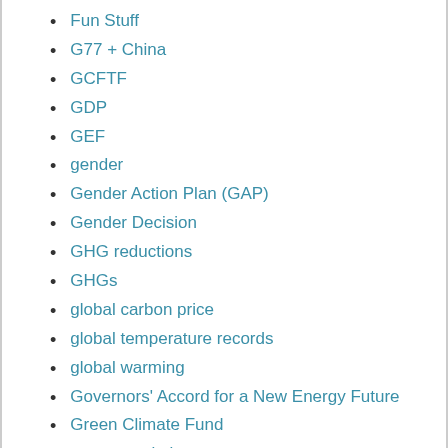Fun Stuff
G77 + China
GCFTF
GDP
GEF
gender
Gender Action Plan (GAP)
Gender Decision
GHG reductions
GHGs
global carbon price
global temperature records
global warming
Governors' Accord for a New Energy Future
Green Climate Fund
green revolution
Greenland
ground-level ozone